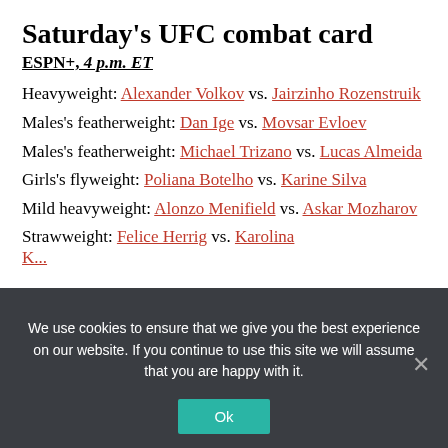Saturday's UFC combat card
ESPN+, 4 p.m. ET
Heavyweight: Alexander Volkov vs. Jairzinho Rozenstruik
Males's featherweight: Dan Ige vs. Movsar Evloev
Males's featherweight: Michael Trizano vs. Lucas Almeida
Girls's flyweight: Poliana Botelho vs. Karine Silva
Mild heavyweight: Alonzo Menifield vs. Askar Mozharov
Strawweight: Felice Herrig vs. Karolina K...
We use cookies to ensure that we give you the best experience on our website. If you continue to use this site we will assume that you are happy with it.